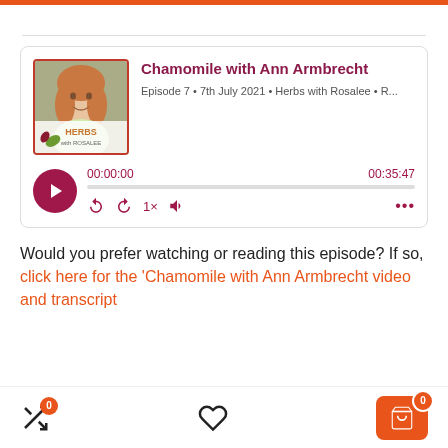[Figure (screenshot): Podcast player card for 'Chamomile with Ann Armbrecht', Episode 7, 7th July 2021, Herbs with Rosalee. Shows thumbnail image with HERBS with ROSALEE logo, play button at 00:00:00, total duration 00:35:47, and playback controls.]
Would you prefer watching or reading this episode? If so, click here for the 'Chamomile with Ann Armbrecht video and transcript
[Figure (screenshot): Bottom navigation bar with shuffle icon (badge 0), heart icon, and shopping cart button (badge 0) in orange.]